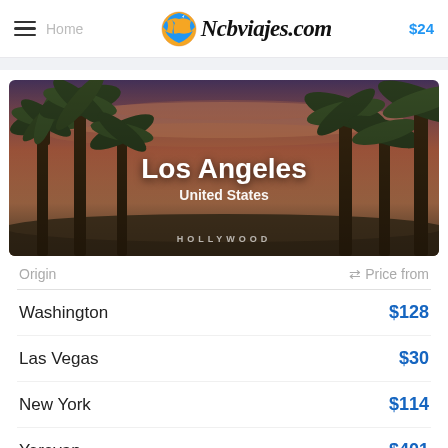Home  Ncbviajes.com  $24
[Figure (photo): Palm trees against a pink and purple sunset sky with the Hollywood sign visible in the distance. Text overlay reads 'Los Angeles' and 'United States'.]
Los Angeles
United States
| Origin | ⇄ Price from |
| --- | --- |
| Washington | $128 |
| Las Vegas | $30 |
| New York | $114 |
| Yerevan | $401 |
| Istanbul | $369 |